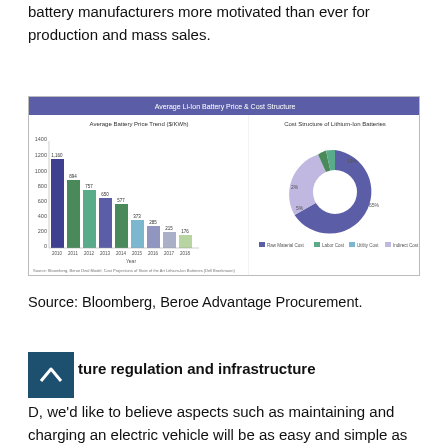battery manufacturers more motivated than ever for production and mass sales.
[Figure (grouped-bar-chart): Left: Average Battery Price Trend ($/KWh) bar chart 2010-2018. Right: Cost Structure of Lithium-Ion Batteries donut chart with Raw Material Cost (largest ~65%), Labor Cost, Utility Cost, Indirect Cost.]
Source: Bloomberg, Beroe Deal Model, Cost Projections of State of the Art Lithium-Ion Batteries (Dell Broekmann)
Source: Bloomberg, Beroe Advantage Procurement.
Future regulation and infrastructure
D, we'd like to believe aspects such as maintaining and charging an electric vehicle will be as easy and simple as doing so today for internal combustion engine